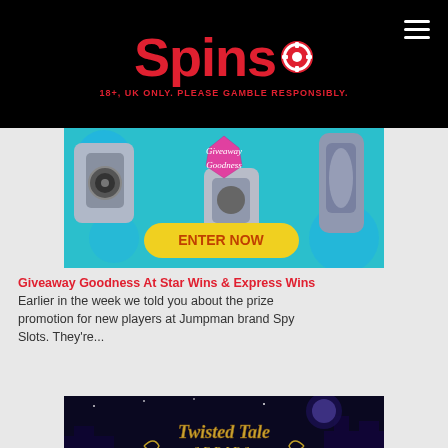Spins  18+, UK ONLY. PLEASE GAMBLE RESPONSIBLY.
[Figure (illustration): Giveaway Goodness promotional banner with electronics/appliances on a teal background, a pink badge reading 'Giveaway Goodness' and a yellow button reading 'ENTER NOW']
Giveaway Goodness At Star Wins & Express Wins Earlier in the week we told you about the prize promotion for new players at Jumpman brand Spy Slots. They're...
[Figure (illustration): Twisted Tale Series game banner with fantasy castle night scene and ornate gold logo text]